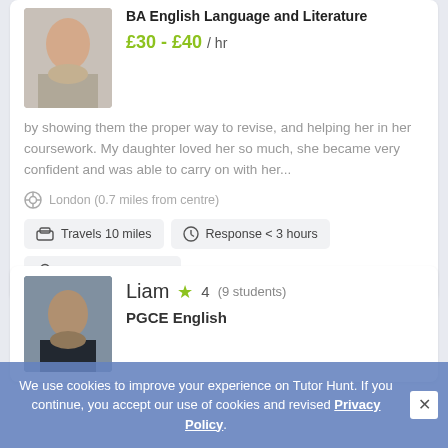[Figure (photo): Photo of a young female tutor]
BA English Language and Literature
£30 - £40 / hr
by showing them the proper way to revise, and helping her in her coursework. My daughter loved her so much, she became very confident and was able to carry on with her...
London (0.7 miles from centre)
Travels 10 miles
Response < 3 hours
Member for 6 years
[Figure (photo): Photo of tutor Liam, male, outdoors]
Liam  4 (9 students)
PGCE English
We use cookies to improve your experience on Tutor Hunt. If you continue, you accept our use of cookies and revised Privacy Policy.